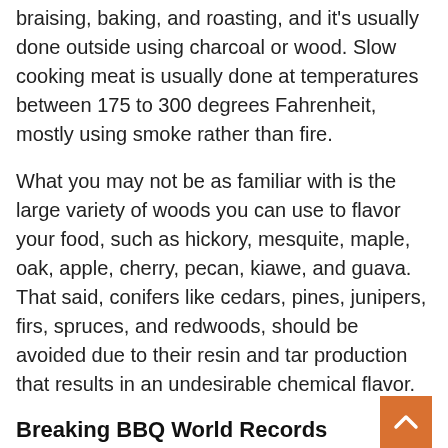braising, baking, and roasting, and it's usually done outside using charcoal or wood. Slow cooking meat is usually done at temperatures between 175 to 300 degrees Fahrenheit, mostly using smoke rather than fire.
What you may not be as familiar with is the large variety of woods you can use to flavor your food, such as hickory, mesquite, maple, oak, apple, cherry, pecan, kiawe, and guava. That said, conifers like cedars, pines, junipers, firs, spruces, and redwoods, should be avoided due to their resin and tar production that results in an undesirable chemical flavor.
Breaking BBQ World Records
People always try to break records related to their hobbies, and the world of barbecue is no